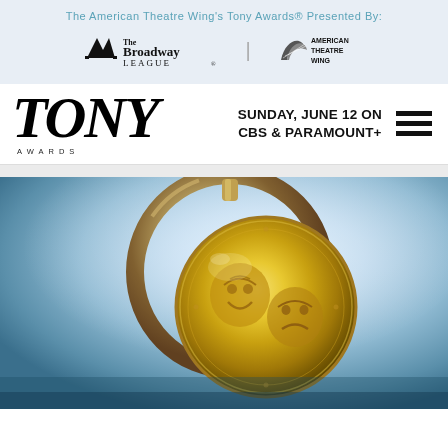The American Theatre Wing's Tony Awards® Presented By:
[Figure (logo): The Broadway League logo and American Theatre Wing logo side by side]
[Figure (logo): Tony Awards wordmark logo with 'TONY AWARDS' text]
SUNDAY, JUNE 12 ON CBS & PARAMOUNT+
[Figure (photo): Close-up photograph of the Tony Award medallion trophy against a blue gradient background. The gold medallion shows theatrical masks (comedy and tragedy) in relief, with a circular metallic ring/stand behind it.]